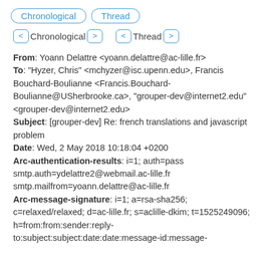Chronological   Thread
< Chronological >   < Thread >
From: Yoann Delattre <yoann.delattre@ac-lille.fr>
To: "Hyzer, Chris" <mchyzer@isc.upenn.edu>, Francis Bouchard-Boulianne <Francis.Bouchard-Boulianne@USherbrooke.ca>, "grouper-dev@internet2.edu" <grouper-dev@internet2.edu>
Subject: [grouper-dev] Re: french translations and javascript problem
Date: Wed, 2 May 2018 10:18:04 +0200
Arc-authentication-results: i=1; auth=pass smtp.auth=ydelattre2@webmail.ac-lille.fr smtp.mailfrom=yoann.delattre@ac-lille.fr
Arc-message-signature: i=1; a=rsa-sha256; c=relaxed/relaxed; d=ac-lille.fr; s=aclille-dkim; t=1525249096; h=from:from:sender:reply-to:subject:subject:date:date:message-id:message-